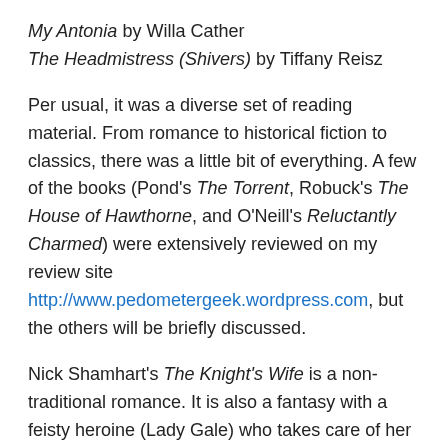My Antonia by Willa Cather
The Headmistress (Shivers) by Tiffany Reisz
Per usual, it was a diverse set of reading material. From romance to historical fiction to classics, there was a little bit of everything. A few of the books (Pond's The Torrent, Robuck's The House of Hawthorne, and O'Neill's Reluctantly Charmed) were extensively reviewed on my review site http://www.pedometergeek.wordpress.com, but the others will be briefly discussed.
Nick Shamhart's The Knight's Wife is a non-traditional romance. It is also a fantasy with a feisty heroine (Lady Gale) who takes care of her clumsy husband, the great Sir William, who is considered the hero of the kingdom of Thistledown. Protecting him from the monsters he defeats is just one of the many things she does that demonstrates